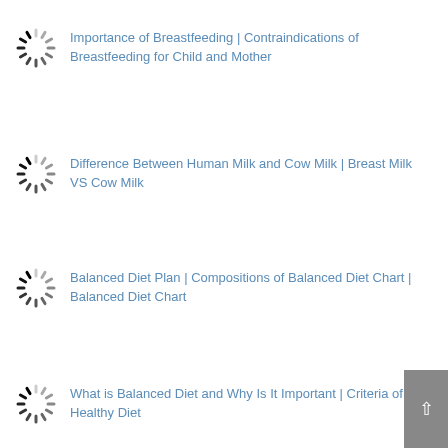Importance of Breastfeeding | Contraindications of Breastfeeding for Child and Mother
Difference Between Human Milk and Cow Milk | Breast Milk VS Cow Milk
Balanced Diet Plan | Compositions of Balanced Diet Chart | Balanced Diet Chart
What is Balanced Diet and Why Is It Important | Criteria of a Healthy Diet